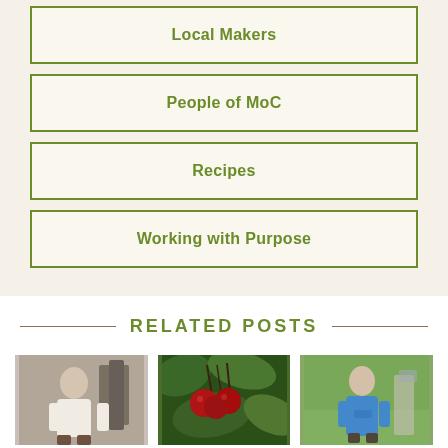Local Makers
People of MoC
Recipes
Working with Purpose
RELATED POSTS
[Figure (photo): Three thumbnail photos in a row: a man in a white shirt in an industrial setting, close-up of dark red cherries on a branch, and a man in a blue shirt outdoors]